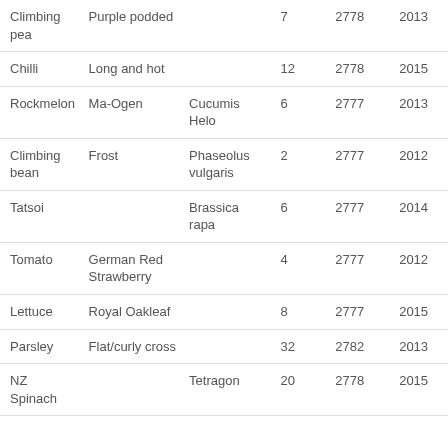| Common name | Variety | Botanical name | Count | Accession | Year |
| --- | --- | --- | --- | --- | --- |
| Climbing pea | Purple podded |  | 7 | 2778 | 2013 |
| Chilli | Long and hot |  | 12 | 2778 | 2015 |
| Rockmelon | Ma-Ogen | Cucumis Helo | 6 | 2777 | 2013 |
| Climbing bean | Frost | Phaseolus vulgaris | 2 | 2777 | 2012 |
| Tatsoi |  | Brassica rapa | 6 | 2777 | 2014 |
| Tomato | German Red Strawberry |  | 4 | 2777 | 2012 |
| Lettuce | Royal Oakleaf |  | 8 | 2777 | 2015 |
| Parsley | Flat/curly cross |  | 32 | 2782 | 2013 |
| NZ Spinach |  | Tetragon | 20 | 2778 | 2015 |